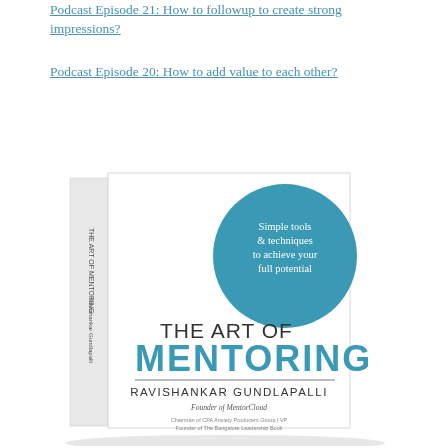Podcast Episode 21: How to followup to create strong impressions?
Podcast Episode 20: How to add value to each other?
[Figure (photo): Book cover of 'The Art of Mentoring' by Ravishankar Gundlapalli, Founder of MentorCloud. The cover shows a white book with a teal/blue circle containing text 'Simple tools & techniques to achieve your full potential', and the title in large text 'THE ART OF MENTORING' with author name at bottom.]